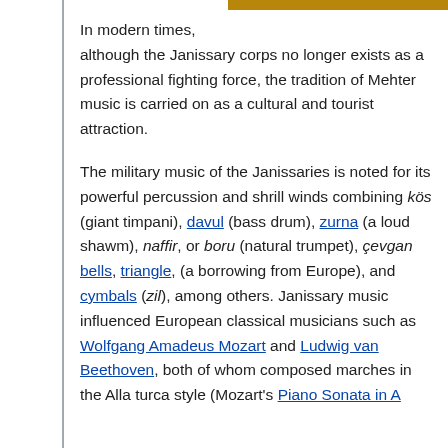[Figure (other): Gold/brown horizontal bar at top right of page]
In modern times, although the Janissary corps no longer exists as a professional fighting force, the tradition of Mehter music is carried on as a cultural and tourist attraction.
The military music of the Janissaries is noted for its powerful percussion and shrill winds combining kös (giant timpani), davul (bass drum), zurna (a loud shawm), naffir, or boru (natural trumpet), çevgan bells, triangle, (a borrowing from Europe), and cymbals (zil), among others. Janissary music influenced European classical musicians such as Wolfgang Amadeus Mozart and Ludwig van Beethoven, both of whom composed marches in the Alla turca style (Mozart's Piano Sonata in A